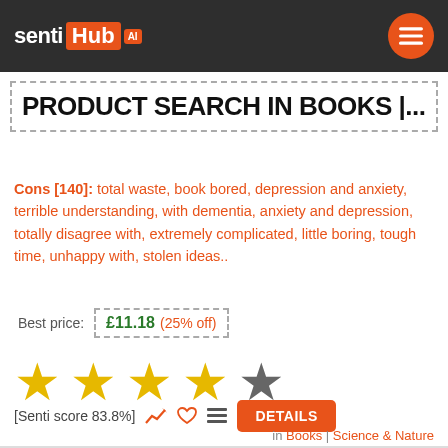sentiHub AI — navigation header
PRODUCT SEARCH IN BOOKS |...
Cons [140]: total waste, book bored, depression and anxiety, terrible understanding, with dementia, anxiety and depression, totally disagree with, extremely complicated, little boring, tough time, unhappy with, stolen ideas..
Best price: £11.18 (25% off)
[Figure (other): 4 gold stars and 1 grey star rating display]
[Senti score 83.8%]
in Books | Science & Nature